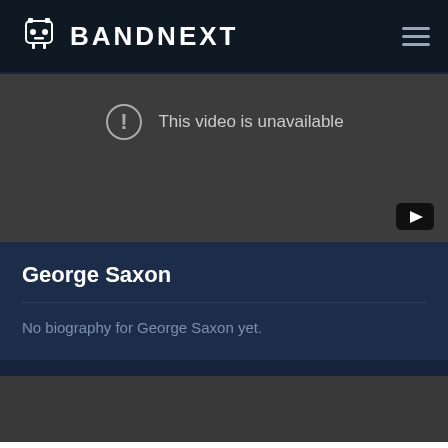BANDNEXT
[Figure (screenshot): Video player showing unavailable video message with exclamation icon and YouTube button]
This video is unavailable
George Saxon
No biography for George Saxon yet.